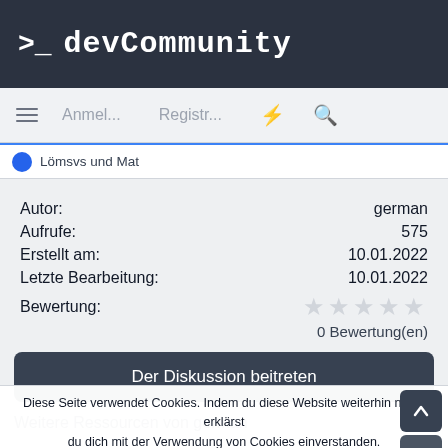>_ devCommunity
Anmel... Registr...
Lömsvs und Mat
| Label | Value |
| --- | --- |
| Autor: | german |
| Aufrufe: | 575 |
| Erstellt am: | 10.01.2022 |
| Letzte Bearbeitung: | 10.01.2022 |
| Bewertung: | ★★★★★ |
|  | 0 Bewertung(en) |
Der Diskussion beitreten
Weitere Ressourcen von german
Diese Seite verwendet Cookies. Indem du diese Website weiterhin nutzt, erklärst du dich mit der Verwendung von Cookies einverstanden.
✓ Akzeptieren   Erfahre mehr...